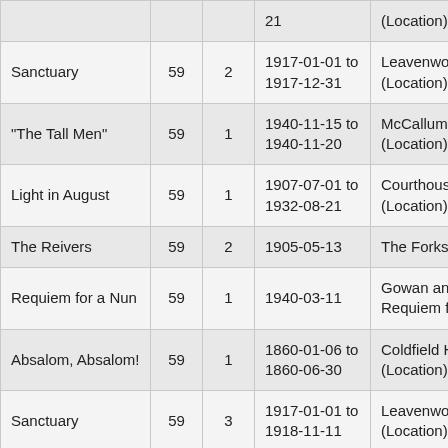| Title | Col2 | Col3 | Date Range | Location |
| --- | --- | --- | --- | --- |
|  |  |  | 21 | (Location) |
| Sanctuary | 59 | 2 | 1917-01-01 to 1917-12-31 | Leavenworth Pris... (Location) |
| "The Tall Men" | 59 | 1 | 1940-11-15 to 1940-11-20 | McCallum Gravey... (Location) |
| Light in August | 59 | 1 | 1907-07-01 to 1932-08-21 | Courthouse and S... (Location) |
| The Reivers | 59 | 2 | 1905-05-13 | The Forks in The R... |
| Requiem for a Nun | 59 | 1 | 1940-03-11 | Gowan and Templ... Requiem for a Nu... |
| Absalom, Absalom! | 59 | 1 | 1860-01-06 to 1860-06-30 | Coldfield House i... (Location) |
| Sanctuary | 59 | 3 | 1917-01-01 to 1918-11-11 | Leavenworth Pris... (Location) |
|  |  |  | 1936-06-01 | Parchman Penite... |